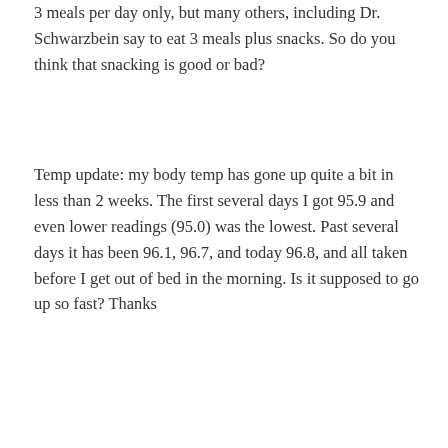3 meals per day only, but many others, including Dr. Schwarzbein say to eat 3 meals plus snacks. So do you think that snacking is good or bad?
Temp update: my body temp has gone up quite a bit in less than 2 weeks. The first several days I got 95.9 and even lower readings (95.0) was the lowest. Past several days it has been 96.1, 96.7, and today 96.8, and all taken before I get out of bed in the morning. Is it supposed to go up so fast? Thanks
Reply
undertow on January 25, 2010 at 3:15 pm
Vida, I have read that if your adrenals need to heal/rest, you can have very reactive temps